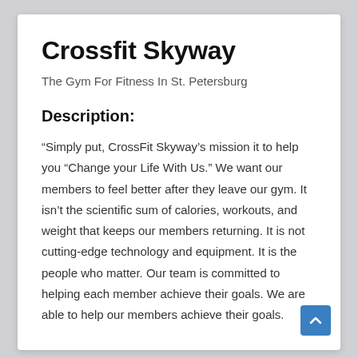Crossfit Skyway
The Gym For Fitness In St. Petersburg
Description:
"Simply put, CrossFit Skyway’s mission it to help you “Change your Life With Us.” We want our members to feel better after they leave our gym. It isn’t the scientific sum of calories, workouts, and weight that keeps our members returning. It is not cutting-edge technology and equipment. It is the people who matter. Our team is committed to helping each member achieve their goals. We are able to help our members achieve their goals.